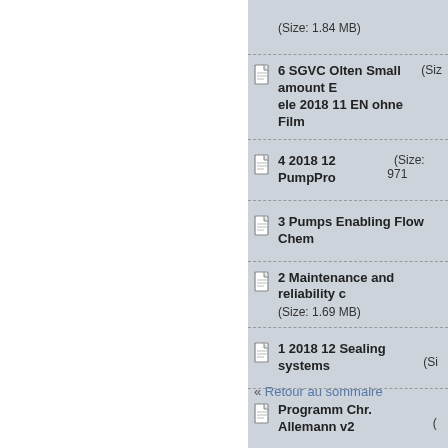(Size: 1.84 MB)
6 SGVC Olten Small amount E ele 2018 11 EN ohne Film  (Siz…
4 2018 12 PumpPro  (Size: 971…
3 Pumps Enabling Flow Chem…
2 Maintenance and reliability c  (Size: 1.69 MB)
1 2018 12 Sealing systems  (Si…
Programm Chr. Allemann v2  (…
« Retour au sommaire